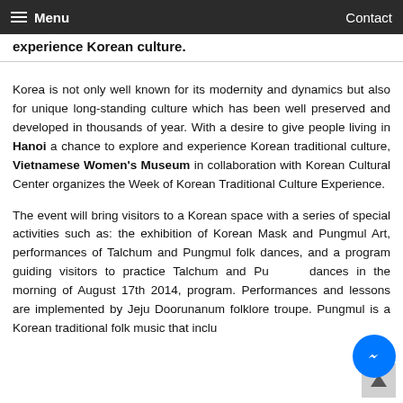Menu   Contact
experience Korean culture.
Korea is not only well known for its modernity and dynamics but also for unique long-standing culture which has been well preserved and developed in thousands of year. With a desire to give people living in Hanoi a chance to explore and experience Korean traditional culture, Vietnamese Women's Museum in collaboration with Korean Cultural Center organizes the Week of Korean Traditional Culture Experience.
The event will bring visitors to a Korean space with a series of special activities such as: the exhibition of Korean Mask and Pungmul Art, performances of Talchum and Pungmul folk dances, and a program guiding visitors to practice Talchum and Pungmul dances in the morning of August 17th 2014, program. Performances and lessons are implemented by Jeju Doorunanum folklore troupe. Pungmul is a Korean traditional folk music that inclu…